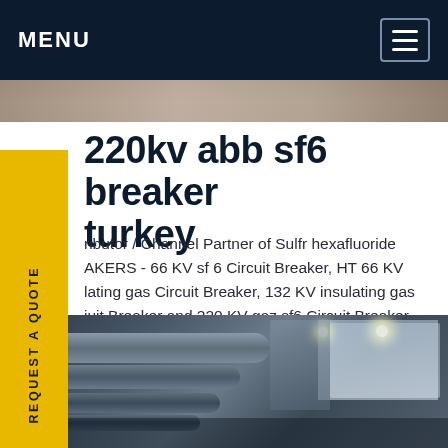MENU
220kv abb sf6 breaker turkey
ributor / Channel Partner of Sulfr hexafluoride AKERS - 66 KV sf 6 Circuit Breaker, HT 66 KV lating gas Circuit Breaker, 132 KV insulating gas iuit Breaker and 220 KV gaz sf6 Circuit Breaker ered by Power Line Electric India (P) Limited, aziabad, Uttar Pradesh.Get price
[Figure (photo): Industrial electrical circuit breakers / SF6 switchgear equipment in an indoor substation facility]